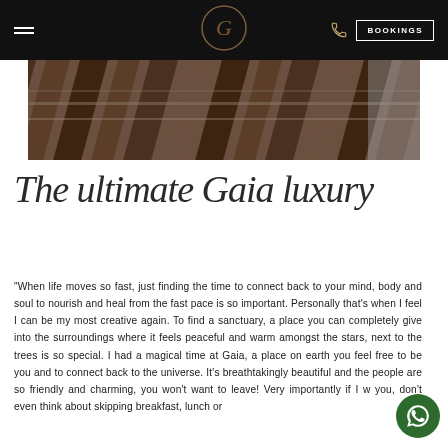≡  [Logo]  [Phone]  BOOKINGS
[Figure (photo): Close-up photo of dark wooden decking boards with metal fittings, viewed at an angle]
The ultimate Gaia luxury
"When life moves so fast, just finding the time to connect back to your mind, body and soul to nourish and heal from the fast pace is so important. Personally that's when I feel I can be my most creative again. To find a sanctuary, a place you can completely give into the surroundings where it feels peaceful and warm amongst the stars, next to the trees is so special. I had a magical time at Gaia, a place on earth you feel free to be you and to connect back to the universe. It's breathtakingly beautiful and the people are so friendly and charming, you won't want to leave! Very importantly if I w you, don't even think about skipping breakfast, lunch or din…